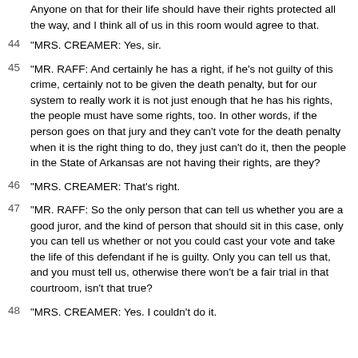Anyone on that for their life should have their rights protected all the way, and I think all of us in this room would agree to that.
44 "MRS. CREAMER: Yes, sir.
45 "MR. RAFF: And certainly he has a right, if he's not guilty of this crime, certainly not to be given the death penalty, but for our system to really work it is not just enough that he has his rights, the people must have some rights, too. In other words, if the person goes on that jury and they can't vote for the death penalty when it is the right thing to do, they just can't do it, then the people in the State of Arkansas are not having their rights, are they?
46 "MRS. CREAMER: That's right.
47 "MR. RAFF: So the only person that can tell us whether you are a good juror, and the kind of person that should sit in this case, only you can tell us whether or not you could cast your vote and take the life of this defendant if he is guilty. Only you can tell us that, and you must tell us, otherwise there won't be a fair trial in that courtroom, isn't that true?
48 "MRS. CREAMER: Yes. I couldn't do it.